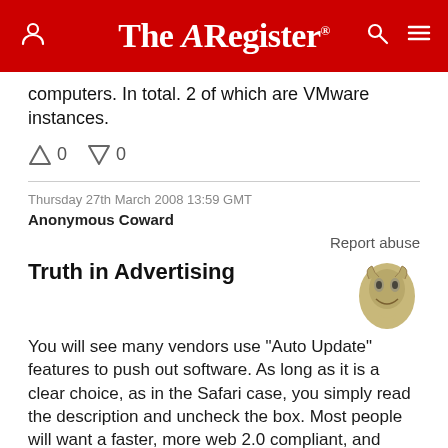The Register
computers. In total. 2 of which are VMware instances.
↑ 0  ↓ 0
Thursday 27th March 2008 13:59 GMT
Anonymous Coward
Report abuse
Truth in Advertising
You will see many vendors use "Auto Update" features to push out software. As long as it is a clear choice, as in the Safari case, you simply read the description and uncheck the box. Most people will want a faster, more web 2.0 compliant, and open standards browser and leave the box checked. For all the Anti-Apple people that have commented... you have absolutely nothing to worry about, as you wouldn't possibly own any Apple software and equipment anyway... would you?